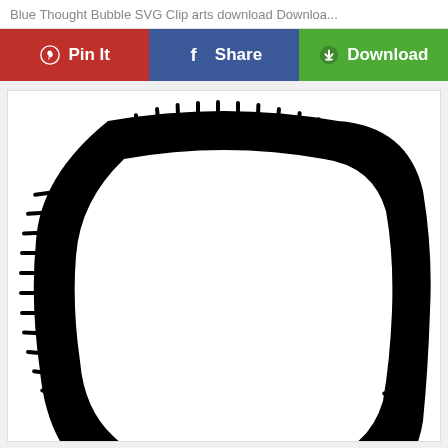Blue Thought Bubble SVG Clip arts download Downloa...
[Figure (illustration): Three action buttons: Pinterest Pin It (red), Facebook Share (blue), Download (green)]
[Figure (illustration): Black and white SVG illustration of a thought bubble with spiky/jagged edges forming a rounded square shape, interior is white/empty]